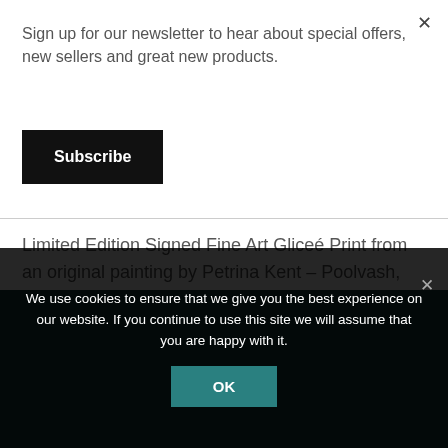Sign up for our newsletter to hear about special offers, new sellers and great new products.
Subscribe
Limited Edition Signed Fine Art Gliceé Print from an original painting by Petrina Kent – Poolvash, Isle of Man. Size: A3. Sold unmounted in a postal tube.
We use cookies to ensure that we give you the best experience on our website. If you continue to use this site we will assume that you are happy with it.
OK